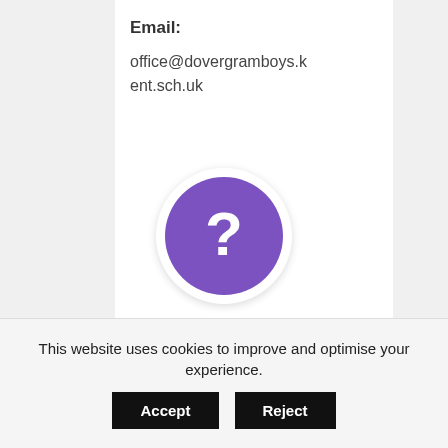Email: office@dovergramboys.kent.sch.uk
[Figure (illustration): Purple circle with white question mark icon on white background]
Dover Grammar
This website uses cookies to improve and optimise your experience.
Accept  Reject